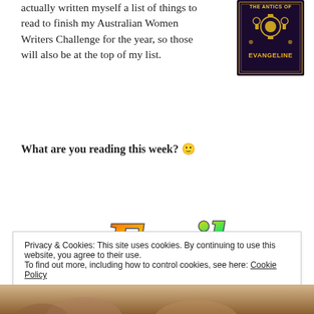actually written myself a list of things to read to finish my Australian Women Writers Challenge for the year, so those will also be at the top of my list.
[Figure (illustration): Book cover image with dark background showing 'THE ANTICS OF EVANGELINE' in stylized gold/orange font]
What are you reading this week? 🙂
[Figure (illustration): Colorful rainbow gradient stylized text signature reading '~Emily' in large decorative font with pink, orange, yellow, green, blue, purple gradient]
Privacy & Cookies: This site uses cookies. By continuing to use this website, you agree to their use.
To find out more, including how to control cookies, see here: Cookie Policy
Close and accept
[Figure (photo): Bottom portion of a photo showing people outdoors, partially visible]